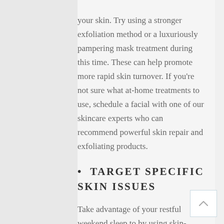your skin. Try using a stronger exfoliation method or a luxuriously pampering mask treatment during this time. These can help promote more rapid skin turnover. If you’re not sure what at-home treatments to use, schedule a facial with one of our skincare experts who can recommend powerful skin repair and exfoliating products.
TARGET SPECIFIC SKIN ISSUES
Take advantage of your restful weekend sleep to by using skin-transforming night creams. Use a night cream that contains retinol, which is the best over-the-counter anti-wrinkle cream available. Ask Botanica’s